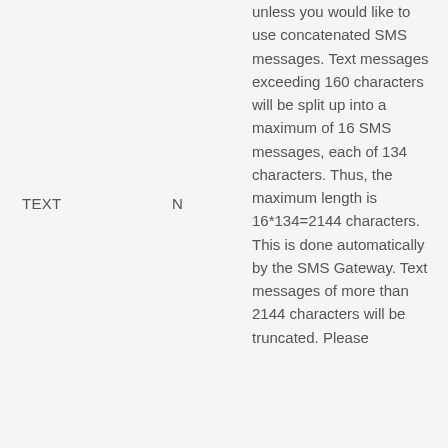| TEXT | N | unless you would like to use concatenated SMS messages. Text messages exceeding 160 characters will be split up into a maximum of 16 SMS messages, each of 134 characters. Thus, the maximum length is 16*134=2144 characters. This is done automatically by the SMS Gateway. Text messages of more than 2144 characters will be truncated. Please |